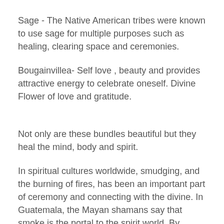Sage - The Native American tribes were known to use sage for multiple purposes such as healing, clearing space and ceremonies.
Bougainvillea- Self love , beauty and provides attractive energy to celebrate oneself. Divine Flower of love and gratitude.
Not only are these bundles beautiful but they heal the mind, body and spirit.
In spiritual cultures worldwide, smudging, and the burning of fires, has been an important part of ceremony and connecting with the divine. In Guatemala, the Mayan shamans say that smoke is the portal to the spirit world. By burning a sacred